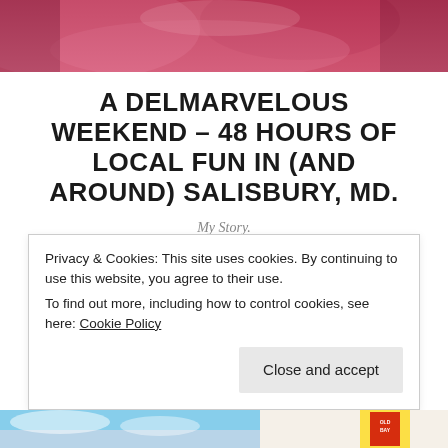[Figure (photo): Partial view of a pink/red car exterior at the top of the page]
A DELMARVELOUS WEEKEND – 48 HOURS OF LOCAL FUN IN (AND AROUND) SALISBURY, MD.
My Story.
What to do with 48 hours in
Privacy & Cookies: This site uses cookies. By continuing to use this website, you agree to their use.
To find out more, including how to control cookies, see here: Cookie Policy
[Figure (photo): Bottom strip showing sky/outdoors scene and Old Bay seasoning can partially visible]